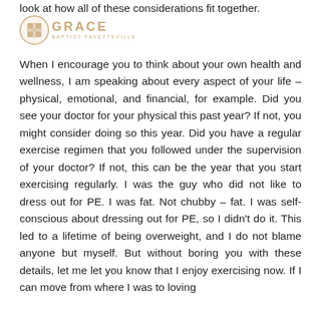look at how all of these considerations fit together.
[Figure (logo): Grace Baptist Fayetteville logo — circular icon with cross/window design in tan/orange color, followed by 'GRACE' in bold spaced tan letters and 'BAPTIST FAYETTEVILLE' in smaller spaced tan letters below]
When I encourage you to think about your own health and wellness, I am speaking about every aspect of your life – physical, emotional, and financial, for example. Did you see your doctor for your physical this past year? If not, you might consider doing so this year. Did you have a regular exercise regimen that you followed under the supervision of your doctor? If not, this can be the year that you start exercising regularly. I was the guy who did not like to dress out for PE. I was fat. Not chubby – fat. I was self-conscious about dressing out for PE, so I didn't do it. This led to a lifetime of being overweight, and I do not blame anyone but myself. But without boring you with these details, let me let you know that I enjoy exercising now. If I can move from where I was to loving